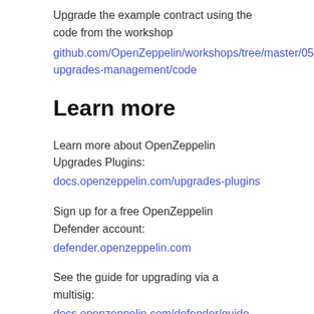Upgrade the example contract using the code from the workshop
github.com/OpenZeppelin/workshops/tree/master/05-upgrades-management/code
Learn more
Learn more about OpenZeppelin Upgrades Plugins:
docs.openzeppelin.com/upgrades-plugins
Sign up for a free OpenZeppelin Defender account:
defender.openzeppelin.com
See the guide for upgrading via a multisig:
docs.openzeppelin.com/defender/guide-upgrades
Guidance on Admin Accounts and Multisigs:
blog.openzeppelin.com/admin-accounts-and-multisigs